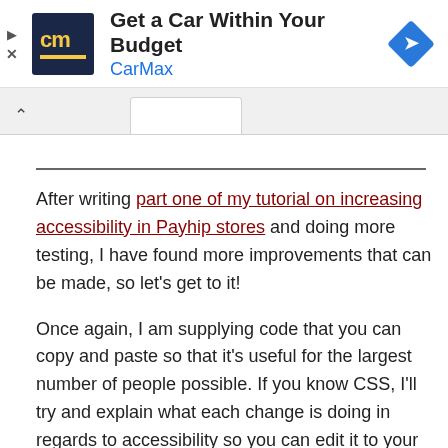[Figure (screenshot): CarMax advertisement banner with logo, headline 'Get a Car Within Your Budget', CarMax brand name in blue, and a navigation/directions icon on the right]
After writing part one of my tutorial on increasing accessibility in Payhip stores and doing more testing, I have found more improvements that can be made, so let's get to it!
Once again, I am supplying code that you can copy and paste so that it's useful for the largest number of people possible. If you know CSS, I'll try and explain what each change is doing in regards to accessibility so you can edit it to your own tastes.